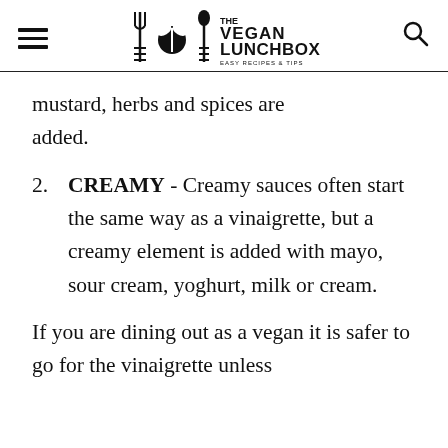THE VEGAN LUNCHBOX — EASY RECIPES & TIPS
mustard, herbs and spices are added.
2. CREAMY - Creamy sauces often start the same way as a vinaigrette, but a creamy element is added with mayo, sour cream, yoghurt, milk or cream.
If you are dining out as a vegan it is safer to go for the vinaigrette unless